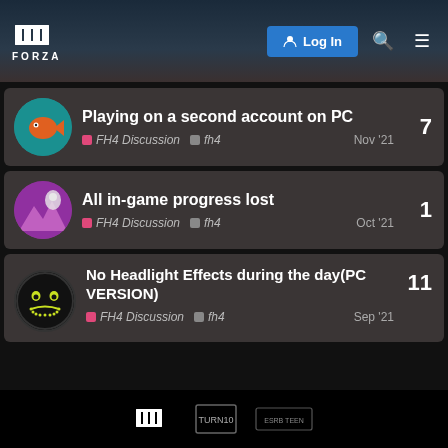[Figure (screenshot): Forza forum website header with Forza logo, Log In button, search and menu icons, landscape background]
Playing on a second account on PC — 7 replies — FH4 Discussion, fh4 — Nov '21
All in-game progress lost — 1 reply — FH4 Discussion, fh4 — Oct '21
No Headlight Effects during the day(PC VERSION) — 11 replies — FH4 Discussion, fh4 — Sep '21
Want to read more? Browse other topics in FH4 Discussion or view latest topics.
[Figure (logo): Footer with Forza, Turn 10, and Microsoft logos on black background]